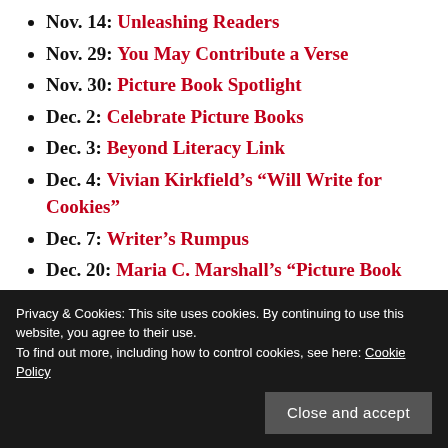Nov. 14: Unleashing Readers
Nov. 29: You May Contribute a Verse
Nov. 30: Picture Book Spotlight
Dec. 2: Celebrate Picture Books
Dec. 3: Beyond Literacy Link
Dec. 4: Vivian Kirkfield's “Will Write for Cookies”
Dec. 7: Writer’s Rumpus
Dec. 20: Maria C. Marshall’s “Picture Book Buzz”
Dec. 24: Maria C. Marshall’s “Perfect Picture Book Friday”
Privacy & Cookies: This site uses cookies. By continuing to use this website, you agree to their use.
To find out more, including how to control cookies, see here: Cookie Policy